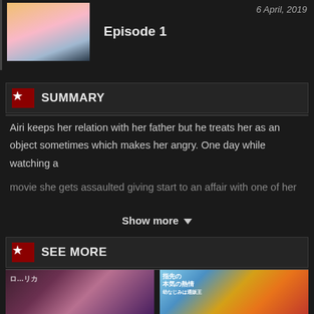6 April, 2019
[Figure (illustration): Anime thumbnail showing a blonde female character]
Episode 1
SUMMARY
Airi keeps her relation with her father but he treats her as an object sometimes which makes her angry. One day while watching a movie she gets assaulted giving start to an affair with one of her
Show more ▾
SEE MORE
[Figure (illustration): Left anime thumbnail with Japanese text overlay]
[Figure (illustration): Right anime thumbnail with Japanese text 指先の本気の熱情]